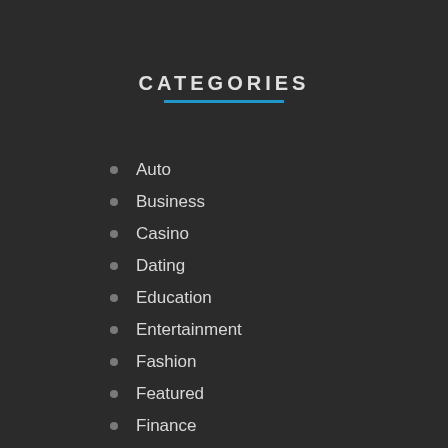CATEGORIES
Auto
Business
Casino
Dating
Education
Entertainment
Fashion
Featured
Finance
Fitness
general
Health
Home Improvement
Insurance
Law